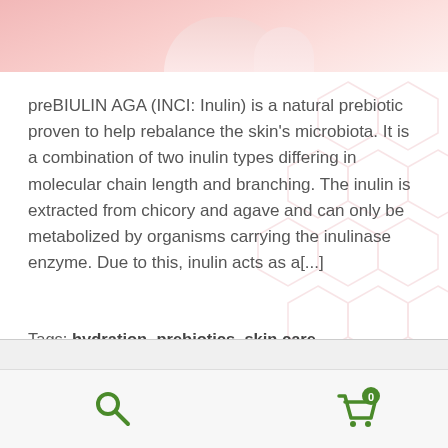[Figure (photo): Pink background product image at top, partial view with light pink tones]
preBIULIN AGA (INCI: Inulin) is a natural prebiotic proven to help rebalance the skin's microbiota. It is a combination of two inulin types differing in molecular chain length and branching. The inulin is extracted from chicory and agave and can only be metabolized by organisms carrying the inulinase enzyme. Due to this, inulin acts as a[...]
Tags: hydration, prebiotics, skin care
[Figure (illustration): Decorative hexagon pattern in light pink on right side background]